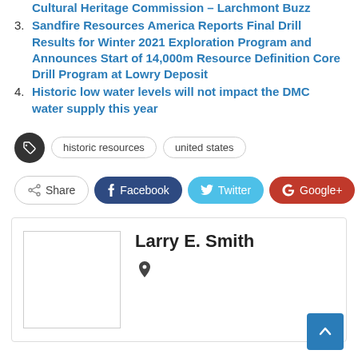Cultural Heritage Commission – Larchmont Buzz
3. Sandfire Resources America Reports Final Drill Results for Winter 2021 Exploration Program and Announces Start of 14,000m Resource Definition Core Drill Program at Lowry Deposit
4. Historic low water levels will not impact the DMC water supply this year
[Figure (infographic): Tags section with tag icon button, 'historic resources' pill tag, and 'united states' pill tag]
[Figure (infographic): Share buttons row: Share, Facebook, Twitter, Google+, plus button]
[Figure (infographic): Author card with placeholder image box, author name Larry E. Smith, and location icon]